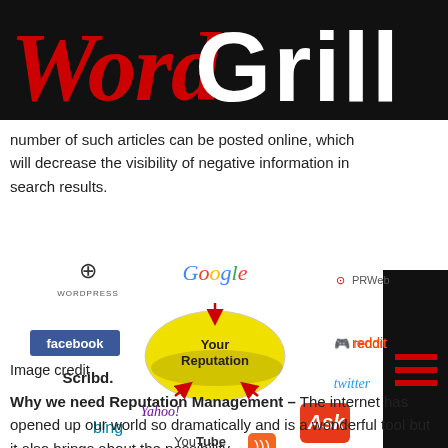WordGrill
number of such articles can be posted online, which will decrease the visibility of negative information in search results.
[Figure (infographic): Reputation management infographic showing logos of WordPress, Google, PRWeb, Facebook, Reddit, Scribd, Twitter, Yahoo, Ask, Bing, YouTube, RSS feed surrounding a central yellow oval labeled 'Your Reputation' with red arrows pointing inward.]
Image credit
Why we need Reputation Management – The internet has opened up our world so dramatically and is a wonderful tool but it also brings about the possibility